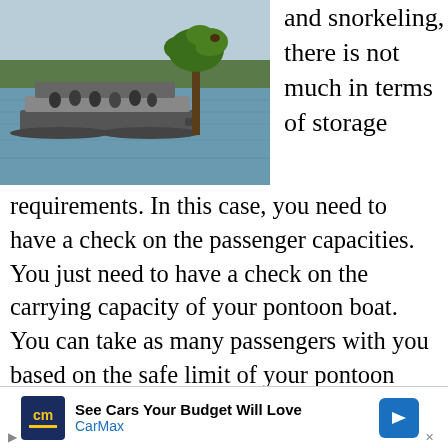[Figure (photo): A pontoon boat with passengers on a lake, with a cypress tree rising from the water in the background and forested shoreline beyond.]
and snorkeling, there is not much in terms of storage requirements. In this case, you need to have a check on the passenger capacities. You just need to have a check on the carrying capacity of your pontoon boat. You can take as many passengers with you based on the safe limit of your pontoon boat. For scuba diving and water skiing some equipment is required and hence storage requirements are also needed.  Water sports like water skiing requiring pulling the ones involved in the
[Figure (other): CarMax advertisement banner: See Cars Your Budget Will Love — CarMax logo with blue diamond arrow icon]